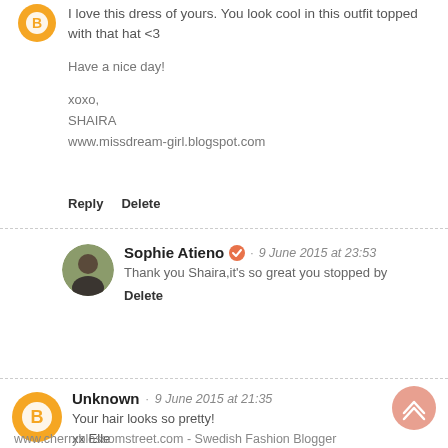[Figure (illustration): Orange circular avatar icon with blogger logo]
I love this dress of yours. You look cool in this outfit topped with that hat <3

Have a nice day!

xoxo,
SHAIRA
www.missdream-girl.blogspot.com
Reply    Delete
[Figure (photo): Circular avatar photo of Sophie Atieno]
Sophie Atieno · 9 June 2015 at 23:53
Thank you Shaira,it's so great you stopped by
Delete
[Figure (illustration): Orange circular avatar icon with blogger logo for Unknown commenter]
Unknown · 9 June 2015 at 21:35
Your hair looks so pretty!
xx Elle
www.cherryblossomstreet.com - Swedish Fashion Blogger
[Figure (illustration): Pink/salmon circular scroll-to-top button with chevron up arrows]